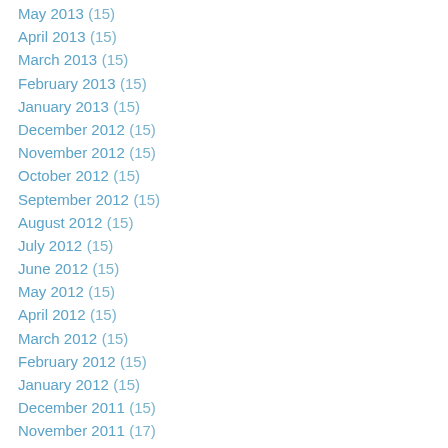May 2013 (15)
April 2013 (15)
March 2013 (15)
February 2013 (15)
January 2013 (15)
December 2012 (15)
November 2012 (15)
October 2012 (15)
September 2012 (15)
August 2012 (15)
July 2012 (15)
June 2012 (15)
May 2012 (15)
April 2012 (15)
March 2012 (15)
February 2012 (15)
January 2012 (15)
December 2011 (15)
November 2011 (17)
October 2011 (17)